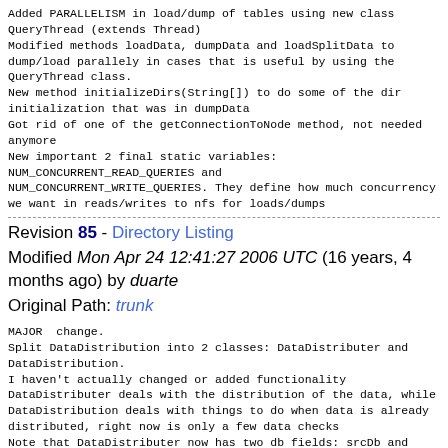Added PARALLELISM in load/dump of tables using new class QueryThread (extends Thread)
Modified methods loadData, dumpData and loadSplitData to dump/load parallely in cases that is useful by using the QueryThread class.
New method initializeDirs(String[]) to do some of the dir initialization that was in dumpData
Got rid of one of the getConnectionToNode method, not needed anymore
New important 2 final static variables:
NUM_CONCURRENT_READ_QUERIES and
NUM_CONCURRENT_WRITE_QUERIES. They define how much concurrency we want in reads/writes to nfs for loads/dumps
Revision 85 - Directory Listing
Modified Mon Apr 24 12:41:27 2006 UTC (16 years, 4 months ago) by duarte
Original Path: trunk
MAJOR  change.
Split DataDistribution into 2 classes: DataDistributer and DataDistribution.
I haven't actually changed or added functionality DataDistributer deals with the distribution of the data, while DataDistribution deals with things to do when data is already distributed, right now is only a few data checks
Note that DataDistributer now has two db fields: srcDb and destDb. This is a different interface from srcLevelDb